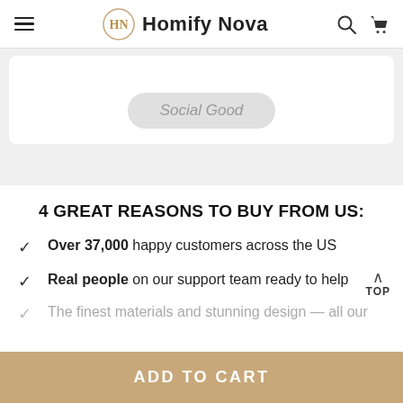Homify Nova
[Figure (screenshot): Social Good button/tag on white card background]
4 GREAT REASONS TO BUY FROM US:
Over 37,000 happy customers across the US
Real people on our support team ready to help
The finest materials and stunning design — all our...
ADD TO CART